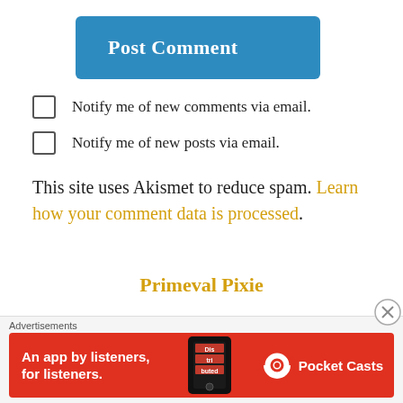[Figure (other): Blue 'Post Comment' button with rounded corners]
Notify me of new comments via email.
Notify me of new posts via email.
This site uses Akismet to reduce spam. Learn how your comment data is processed.
Primeval Pixie
Advertisements
[Figure (other): Pocket Casts advertisement banner: red background, text 'An app by listeners, for listeners.' with phone image and Pocket Casts logo]